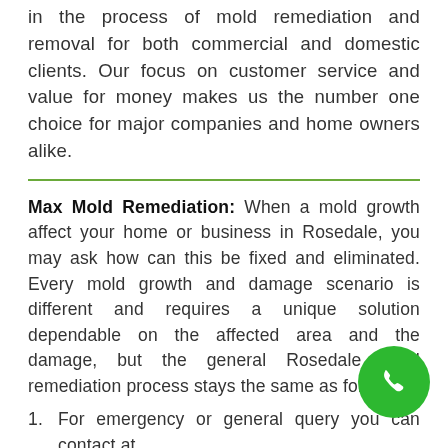in the process of mold remediation and removal for both commercial and domestic clients. Our focus on customer service and value for money makes us the number one choice for major companies and home owners alike.
Max Mold Remediation: When a mold growth affect your home or business in Rosedale, you may ask how can this be fixed and eliminated. Every mold growth and damage scenario is different and requires a unique solution dependable on the affected area and the damage, but the general Rosedale mold remediation process stays the same as follows
1. For emergency or general query you can contact at (929) 207-2772